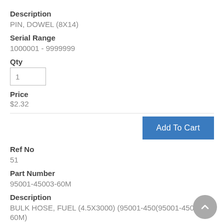Description
PIN, DOWEL (8X14)
Serial Range
1000001 - 9999999
Qty
1
Price
$2.32
[Figure (other): Add To Cart button]
Ref No
51
Part Number
95001-45003-60M
Description
BULK HOSE, FUEL (4.5X3000) (95001-450(95001-45001-60M)
Serial Range
1000001 - 9999999
Qty